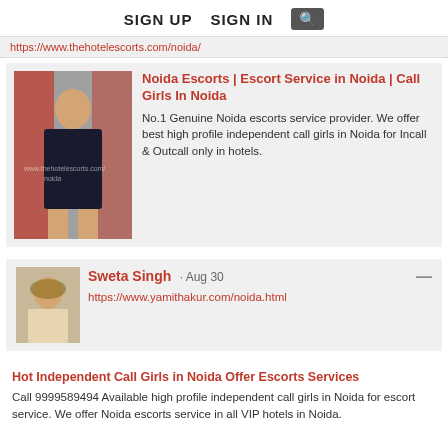SIGN UP   SIGN IN   [search]
https://www.thehotelescorts.com/noida/
[Figure (photo): Photo of a young woman standing near red metal poles/structure outdoors]
Noida Escorts | Escort Service in Noida | Call Girls In Noida
No.1 Genuine Noida escorts service provider. We offer best high profile independent call girls in Noida for Incall & Outcall only in hotels.
[Figure (photo): Avatar/profile photo of Sweta Singh]
Sweta Singh · Aug 30
https://www.yamithakur.com/noida.html
Hot Independent Call Girls in Noida Offer Escorts Services
Call 9999589494 Available high profile independent call girls in Noida for escort service. We offer Noida escorts service in all VIP hotels in Noida.